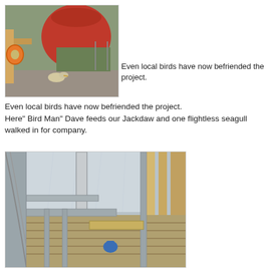[Figure (photo): Photo of a bird (flightless seagull) near a large red buoy/float, with gravel ground and green vegetation, an orange life ring visible on the left, wooden structure in background.]
Even local birds have now befriended the project.
Here" Bird Man" Dave feeds our Jackdaw and one flightless seagull walked in for company.
[Figure (photo): Interior view of a boat under construction, showing aluminium framing, ribs, wooden decking/planks, plastic sheeting, and a blue object on the floor.]